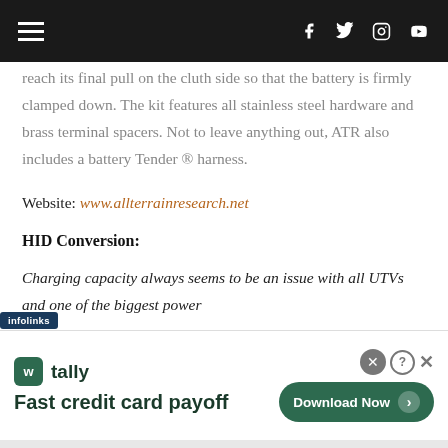Navigation bar with hamburger menu and social icons (Facebook, Twitter, Instagram, YouTube)
reach its final pull on the cluth side so that the battery is firmly clamped down. The kit features all stainless steel hardware and brass terminal spacers. Not to leave anything out, ATR also includes a battery Tender ® harness.
Website: www.allterrainresearch.net
HID Conversion:
Charging capacity always seems to be an issue with all UTVs and one of the biggest power
[Figure (screenshot): Tally app advertisement banner: 'Fast credit card payoff' with Download Now button]